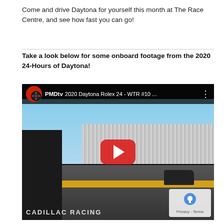Come and drive Daytona for yourself this month at The Race Centre, and see how fast you can go!
Take a look below for some onboard footage from the 2020 24-Hours of Daytona!
[Figure (screenshot): YouTube video thumbnail showing onboard footage from the 2020 Daytona Rolex 24 - WTR #10, with a red play button in the center. The PMDtv logo appears in the top-left corner of the video player.]